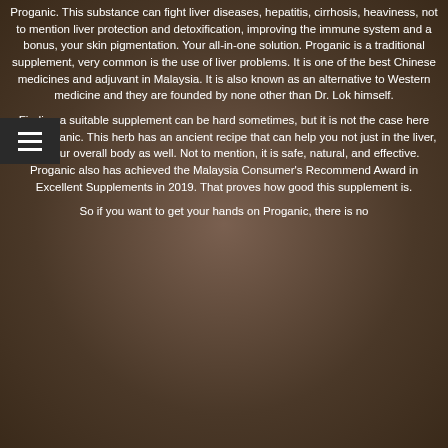Proganic. This substance can fight liver diseases, hepatitis, cirrhosis, heaviness, not to mention liver protection and detoxification, improving the immune system and a bonus, your skin pigmentation. Your all-in-one solution. Proganic is a traditional supplement, very common is the use of liver problems. It is one of the best Chinese medicines and adjuvant in Malaysia. It is also known as an alternative to Western medicine and they are founded by none other than Dr. Lok himself.
Finding a suitable supplement can be hard sometimes, but it is not the case here with Proganic. This herb has an ancient recipe that can help you not just in the liver, but your overall body as well. Not to mention, it is safe, natural, and effective. Proganic also has achieved the Malaysia Consumer's Recommend Award in Excellent Supplements in 2019. That proves how good this supplement is.
So if you want to get your hands on Proganic, there is no